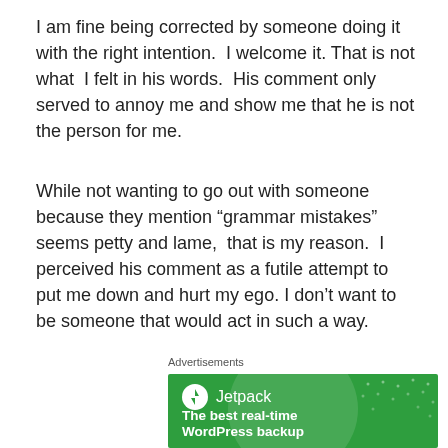I am fine being corrected by someone doing it with the right intention.  I welcome it. That is not what  I felt in his words.  His comment only served to annoy me and show me that he is not the person for me.
While not wanting to go out with someone because they mention “grammar mistakes” seems petty and lame,  that is my reason.  I perceived his comment as a futile attempt to put me down and hurt my ego. I don’t want to be someone that would act in such a way.
Advertisements
[Figure (other): Jetpack advertisement banner on green background. Shows Jetpack logo (white circle with lightning bolt icon) and text 'The best real-time WordPress backup'.]